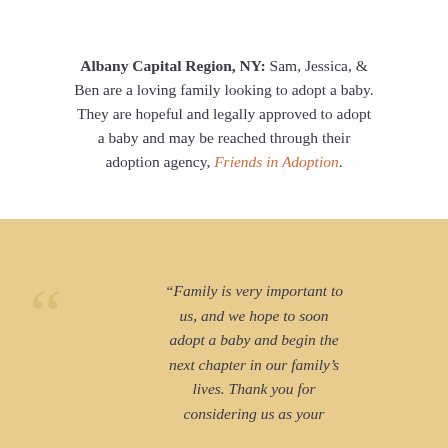Albany Capital Region, NY: Sam, Jessica, & Ben are a loving family looking to adopt a baby. They are hopeful and legally approved to adopt a baby and may be reached through their adoption agency, Friends in Adoption.
“Family is very important to us, and we hope to soon adopt a baby and begin the next chapter in our family’s lives. Thank you for considering us as your